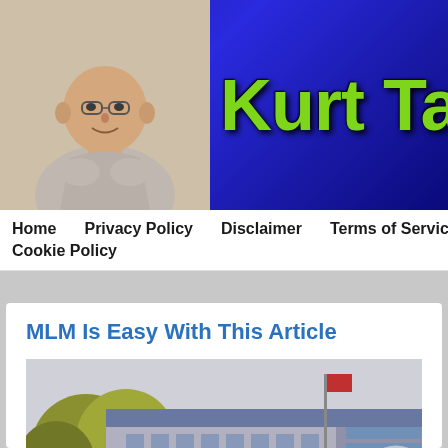[Figure (photo): Website header banner with a photo of a bald person on the left and large green text 'Kurt Taso' on a blue gradient background on the right]
Home   Privacy Policy   Disclaimer   Terms of Service   Support   Cookie Policy
MLM Is Easy With This Article
[Figure (photo): Outdoor photo of the Alticor (Amway) corporate campus with trees, a building, a globe sculpture, and a person walking in the foreground. The Alticor sign is visible.]